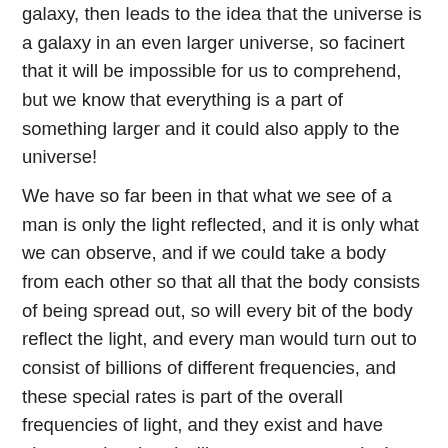galaxy, then leads to the idea that the universe is a galaxy in an even larger universe, so facinert that it will be impossible for us to comprehend, but we know that everything is a part of something larger and it could also apply to the universe!
We have so far been in that what we see of a man is only the light reflected, and it is only what we can observe, and if we could take a body from each other so that all that the body consists of being spread out, so will every bit of the body reflect the light, and every man would turn out to consist of billions of different frequencies, and these special rates is part of the overall frequencies of light, and they exist and have always existed and will never cease to exist !